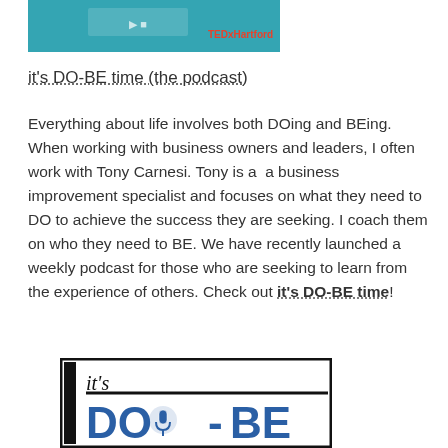[Figure (screenshot): Partial screenshot of a TED talk or webinar thumbnail with teal/blue background and 'TEDxHartford' branding visible]
it's DO-BE time (the podcast)
Everything about life involves both DOing and BEing. When working with business owners and leaders, I often work with Tony Carnesi. Tony is a  a business improvement specialist and focuses on what they need to DO to achieve the success they are seeking. I coach them on who they need to BE. We have recently launched a weekly podcast for those who are seeking to learn from the experience of others. Check out it's DO-BE time!
[Figure (logo): Logo for 'it's DO-BE' podcast — black bordered rectangle with italic 'it's' in black, 'DO-BE' in large bold blue letters with a microphone icon replacing the O in DO]